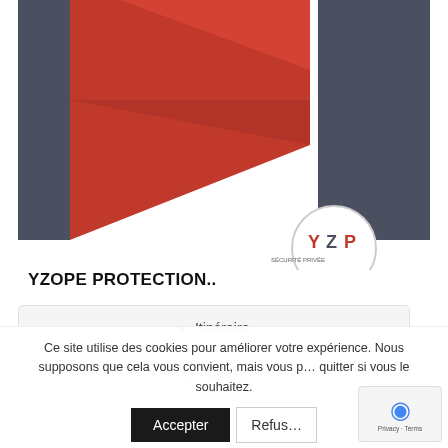[Figure (logo): YZOPE PROTECTION logo with red diagonal stripe on dark grey background panels, and a circular YZP badge with 'SÉCURITÉ PRIVÉE' text]
YZOPE PROTECTION..
Itinéraire
Appeler
Ce site utilise des cookies pour améliorer votre expérience. Nous supposons que cela vous convient, mais vous pouvez quitter si vous le souhaitez.
Accepter
Refuser